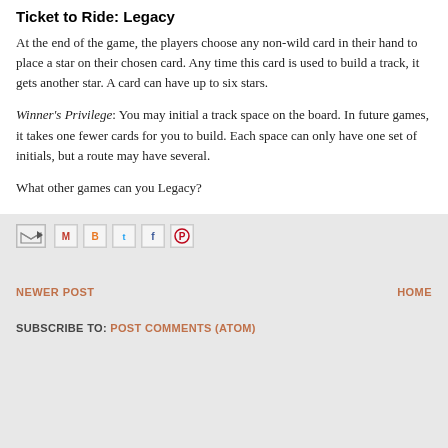Ticket to Ride: Legacy
At the end of the game, the players choose any non-wild card in their hand to place a star on their chosen card. Any time this card is used to build a track, it gets another star. A card can have up to six stars.
Winner's Privilege: You may initial a track space on the board. In future games, it takes one fewer cards for you to build. Each space can only have one set of initials, but a route may have several.
What other games can you Legacy?
[Figure (infographic): Social share icons including email forward, Gmail, Blogger, Twitter, Facebook, and Pinterest buttons]
NEWER POST    HOME    SUBSCRIBE TO: POST COMMENTS (ATOM)